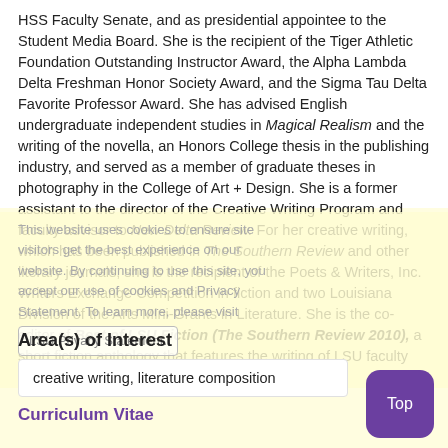HSS Faculty Senate, and as presidential appointee to the Student Media Board. She is the recipient of the Tiger Athletic Foundation Outstanding Instructor Award, the Alpha Lambda Delta Freshman Honor Society Award, and the Sigma Tau Delta Favorite Professor Award. She has advised English undergraduate independent studies in Magical Realism and the writing of the novella, an Honors College thesis in the publishing industry, and served as a member of graduate theses in photography in the College of Art + Design. She is a former assistant to the director of the Creative Writing Program and faculty advisor to New Delta Review. For her creative writing, which has been published in The Southern Review and other literary journals, she is the recipient of the Poets & Writers, Inc. Writers Exchange Competition in fiction and two Louisiana Division of the Arts Mini-Grants in Literature. She is the co-editor of Best of LSU Fiction (The Southern Review 2010), a short fiction anthology that features the writing of LSU faculty and alumni.
Area(s) of Interest
creative writing, literature composition
Curriculum Vitae